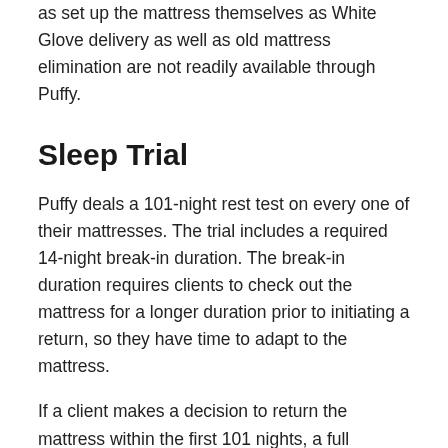as set up the mattress themselves as White Glove delivery as well as old mattress elimination are not readily available through Puffy.
Sleep Trial
Puffy deals a 101-night rest test on every one of their mattresses. The trial includes a required 14-night break-in duration. The break-in duration requires clients to check out the mattress for a longer duration prior to initiating a return, so they have time to adapt to the mattress.
If a client makes a decision to return the mattress within the first 101 nights, a full reimbursement is available. Consumers do not have to pay any type of return delivery charges. Puffy does not keep returned mattresses. Rather, they collaborate with customers to have actually the returned mattress